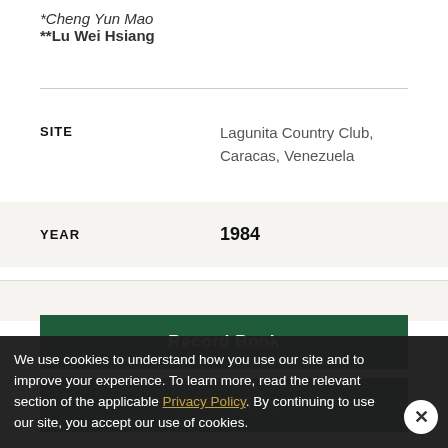*Cheng Yun Mao
**Lu Wei Hsiang
SITE   Lagunita Country Club, Caracas, Venezuela
YEAR   1984
Record Book
Team Photos
We use cookies to understand how you use our site and to improve your experience. To learn more, read the relevant section of the applicable Privacy Policy. By continuing to use our site, you accept our use of cookies.